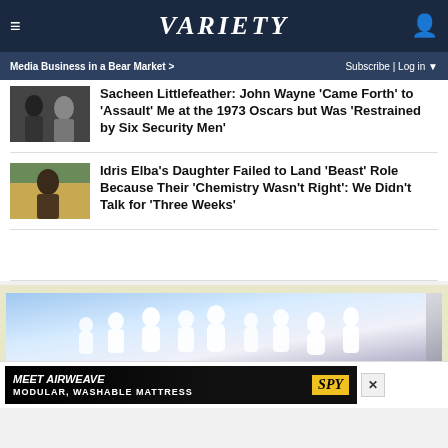Variety - Media Business in a Bear Market > | Subscribe | Log in
Sacheen Littlefeather: John Wayne 'Came Forth' to 'Assault' Me at the 1973 Oscars but Was 'Restrained by Six Security Men'
Idris Elba's Daughter Failed to Land 'Beast' Role Because Their 'Chemistry Wasn't Right': We Didn't Talk for 'Three Weeks'
[Figure (screenshot): Advertisement area with performers in white costumes and bottom ad banner for Meet Airweave Modular Washable Mattress by Spy]